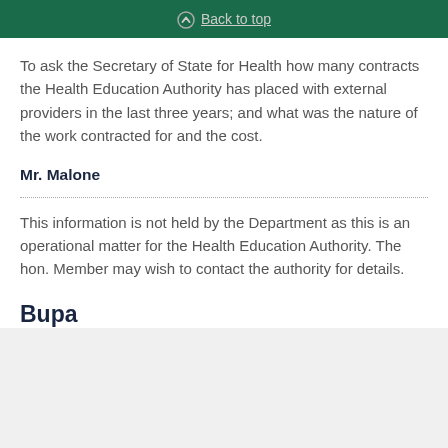Back to top
To ask the Secretary of State for Health how many contracts the Health Education Authority has placed with external providers in the last three years; and what was the nature of the work contracted for and the cost.
Mr. Malone
This information is not held by the Department as this is an operational matter for the Health Education Authority. The hon. Member may wish to contact the authority for details.
Bupa